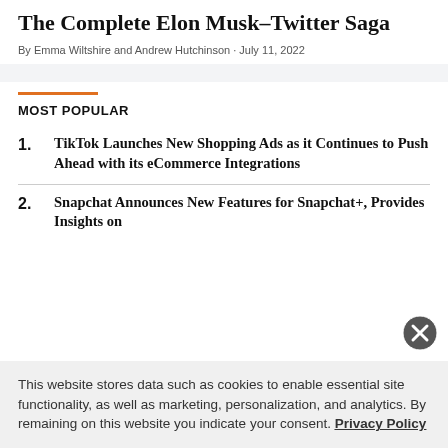The Complete Elon Musk–Twitter Saga
By Emma Wiltshire and Andrew Hutchinson · July 11, 2022
MOST POPULAR
1. TikTok Launches New Shopping Ads as it Continues to Push Ahead with its eCommerce Integrations
2. Snapchat Announces New Features for Snapchat+, Provides Insights on
This website stores data such as cookies to enable essential site functionality, as well as marketing, personalization, and analytics. By remaining on this website you indicate your consent. Privacy Policy